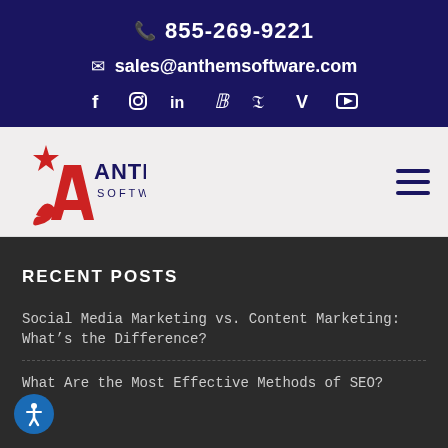855-269-9221
sales@anthemsoftware.com
[Figure (other): Social media icons: Facebook, Instagram, LinkedIn, Pinterest, Twitter/X, Vimeo, YouTube]
[Figure (logo): Anthem Software logo with stylized red A and star, dark blue text reading ANTHEM SOFTWARE]
[Figure (other): Hamburger menu icon (three horizontal lines)]
RECENT POSTS
Social Media Marketing vs. Content Marketing: What’s the Difference?
What Are the Most Effective Methods of SEO?